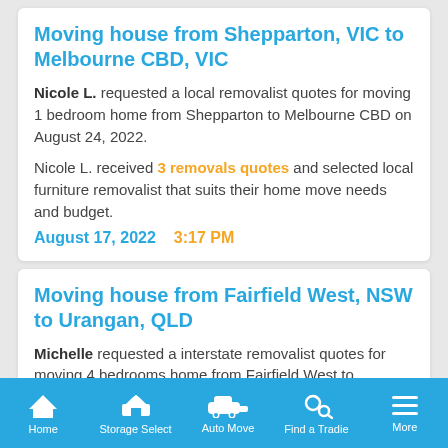Moving house from Shepparton, VIC to Melbourne CBD, VIC
Nicole L. requested a local removalist quotes for moving 1 bedroom home from Shepparton to Melbourne CBD on August 24, 2022.
Nicole L. received 3 removals quotes and selected local furniture removalist that suits their home move needs and budget.
August 17, 2022   3:17 PM
Moving house from Fairfield West, NSW to Urangan, QLD
Michelle requested a interstate removalist quotes for moving 4 bedrooms home from Fairfield West to Urangan on November 06, 2022.
Michelle received 5 removals quotes and selected interstate furniture removalist that suits their home move
Home   Storage Select   Auto Move   Find a Tradie   More